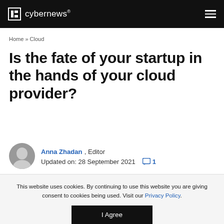cybernews®
Home » Cloud
Is the fate of your startup in the hands of your cloud provider?
Anna Zhadan , Editor
Updated on: 28 September 2021   1
This website uses cookies. By continuing to use this website you are giving consent to cookies being used. Visit our Privacy Policy.
I Agree